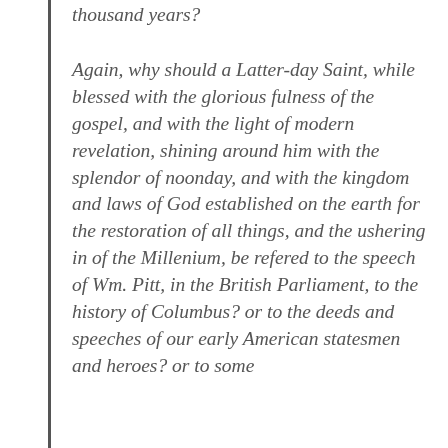thousand years?
Again, why should a Latter-day Saint, while blessed with the glorious fulness of the gospel, and with the light of modern revelation, shining around him with the splendor of noonday, and with the kingdom and laws of God established on the earth for the restoration of all things, and the ushering in of the Millenium, be refered to the speech of Wm. Pitt, in the British Parliament, to the history of Columbus? or to the deeds and speeches of our early American statesmen and heroes? or to some